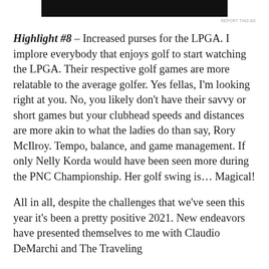[Figure (other): Black advertisement banner bar at top of page]
REPORT THIS AD
Highlight #8 – Increased purses for the LPGA. I implore everybody that enjoys golf to start watching the LPGA. Their respective golf games are more relatable to the average golfer. Yes fellas, I'm looking right at you. No, you likely don't have their savvy or short games but your clubhead speeds and distances are more akin to what the ladies do than say, Rory McIlroy. Tempo, balance, and game management. If only Nelly Korda would have been seen more during the PNC Championship. Her golf swing is… Magical!
All in all, despite the challenges that we've seen this year it's been a pretty positive 2021. New endeavors have presented themselves to me with Claudio DeMarchi and The Traveling